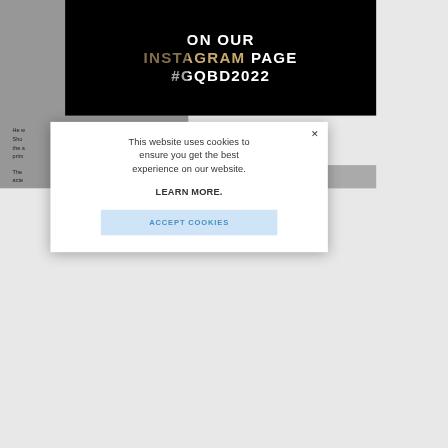[Figure (screenshot): Screenshot of a GQ website page showing a black banner with text 'ON OUR INSTAGRAM PAGE #GQBD2022' partially visible at the top, with body text partially visible below, and a cookie consent modal dialog overlaying the page.]
ON OUR
INSTAGRAM PAGE
#GQBD2022
He w
Sho
the 
prim
The 
acte
This website uses cookies to ensure you get the best experience on our website.
LEARN MORE.
ACCEPT COOKIES